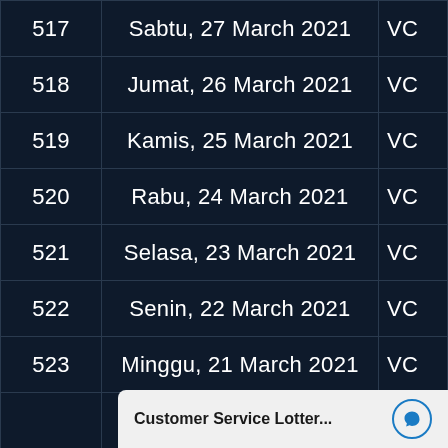| No | Date | VC |
| --- | --- | --- |
| 517 | Sabtu, 27 March 2021 | VC |
| 518 | Jumat, 26 March 2021 | VC |
| 519 | Kamis, 25 March 2021 | VC |
| 520 | Rabu, 24 March 2021 | VC |
| 521 | Selasa, 23 March 2021 | VC |
| 522 | Senin, 22 March 2021 | VC |
| 523 | Minggu, 21 March 2021 | VC |
Customer Service Lotter...